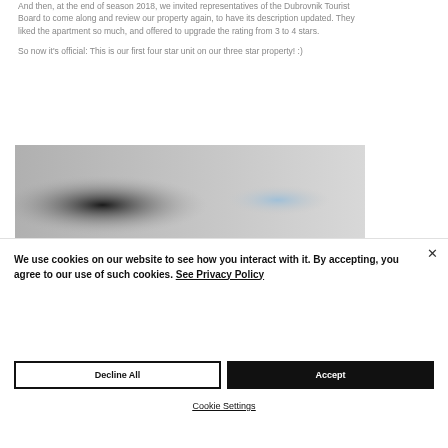And then, at the end of season 2018, we invited representatives of the Dubrovnik Tourist Board to come along and review our property again, to have its description updated. They liked the apartment so much, and offered to upgrade the rating from 3 to 4 stars.
So now it's official: This is our first four star unit on our three star property! :)
[Figure (photo): A blurred indoor photo showing a dark area on the left and a light blue element on the right, appearing to be an apartment interior.]
We use cookies on our website to see how you interact with it. By accepting, you agree to our use of such cookies. See Privacy Policy
Decline All
Accept
Cookie Settings